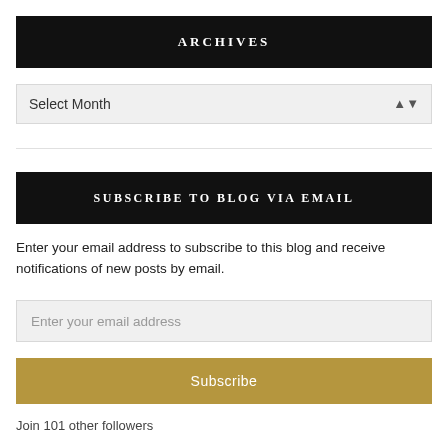ARCHIVES
Select Month
SUBSCRIBE TO BLOG VIA EMAIL
Enter your email address to subscribe to this blog and receive notifications of new posts by email.
Enter your email address
Subscribe
Join 101 other followers